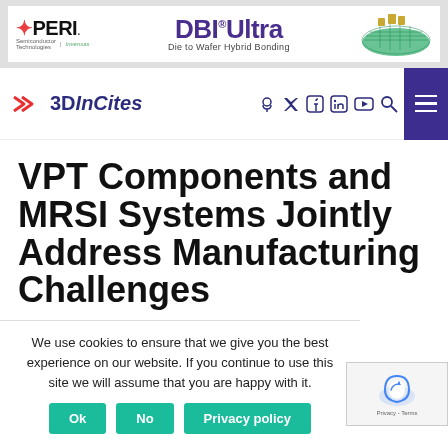[Figure (screenshot): XPERI DBI Ultra advertisement banner — Die to Wafer Hybrid Bonding]
[Figure (logo): 3DInCites website logo with navigation icons (podcast, Twitter, Facebook, LinkedIn, YouTube, search) and hamburger menu]
VPT Components and MRSI Systems Jointly Address Manufacturing Challenges
We use cookies to ensure that we give you the best experience on our website. If you continue to use this site we will assume that you are happy with it.